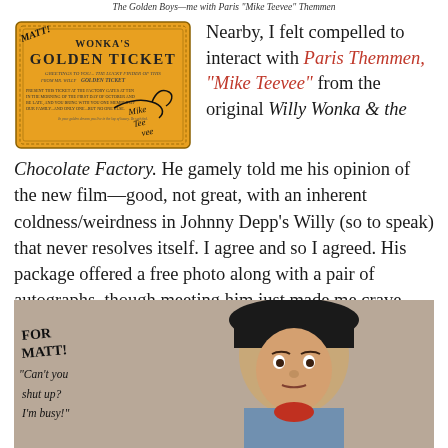The Golden Boys—me with Paris "Mike Teevee" Themmen
[Figure (photo): Wonka's Golden Ticket prop signed by Mike Teevee (Paris Themmen), with handwritten 'MATT!' inscription and autograph]
Nearby, I felt compelled to interact with Paris Themmen, "Mike Teevee" from the original Willy Wonka & the Chocolate Factory. He gamely told me his opinion of the new film—good, not great, with an inherent coldness/weirdness in Johnny Depp's Willy (so to speak) that never resolves itself. I agree and so I agreed. His package offered a free photo along with a pair of autographs, though meeting him just made me crave chocolate.
[Figure (photo): Signed photograph of Paris Themmen as Mike Teevee from Willy Wonka & the Chocolate Factory, with handwritten inscription: 'FOR MATT! "Can't you shut up? I'm busy!"']